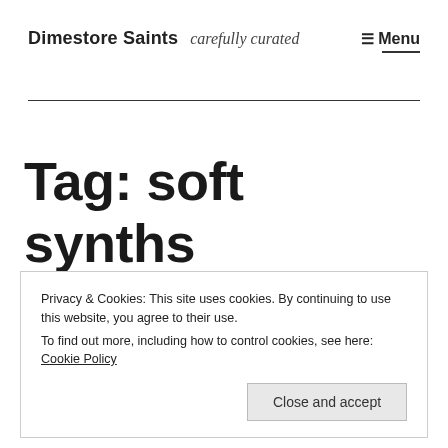Dimestore Saints carefully curated ☰ Menu
Tag: soft synths
Privacy & Cookies: This site uses cookies. By continuing to use this website, you agree to their use.
To find out more, including how to control cookies, see here: Cookie Policy
Close and accept